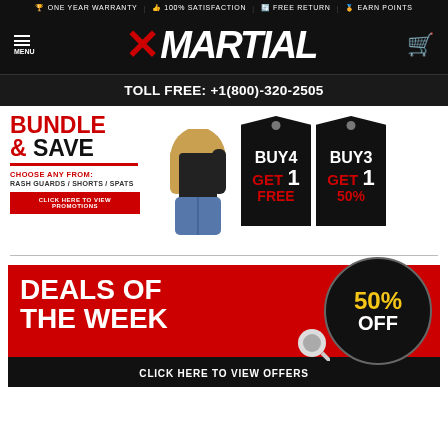ONE YEAR WARRANTY | 100% SATISFACTION | FREE RETURN | EARN POINTS
[Figure (logo): XMartial logo with red X and white MARTIAL text on black background]
TOLL FREE: +1(800)-320-2505
[Figure (infographic): Bundle & Save promotion banner with clothing items and two price tags: BUY4 GET 1 FREE and BUY3 GET 1 50%]
BUNDLE & SAVE
CHOOSE ANY FROM: RASH GUARDS / SHORTS / SPATS
CLICK HERE TO VIEW PROMOTIONS
[Figure (infographic): Deals of the Week banner with 50% OFF circle badge and CLICK HERE TO VIEW OFFERS button]